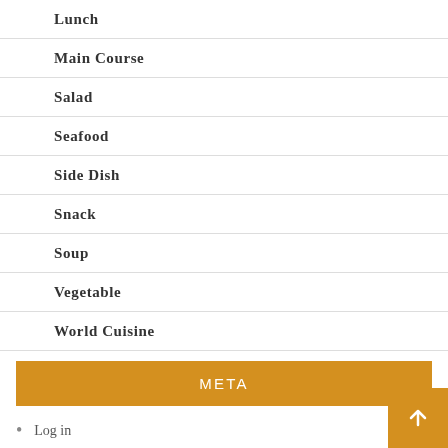Lunch
Main Course
Salad
Seafood
Side Dish
Snack
Soup
Vegetable
World Cuisine
META
Log in
Entries feed